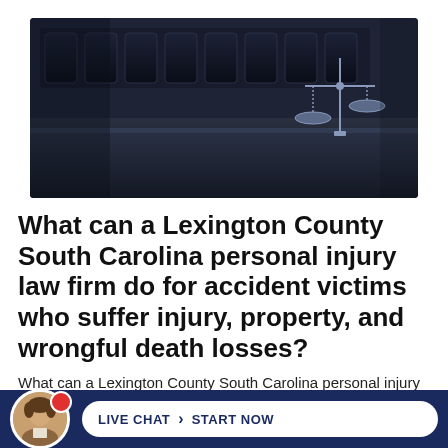[Figure (photo): Monochrome photo of a courtroom with leather chairs, a long table, and scales of justice in the foreground on the right side.]
What can a Lexington County South Carolina personal injury law firm do for accident victims who suffer injury, property, and wrongful death losses?
What can a Lexington County South Carolina personal injury law firm do for accident victims
[Figure (photo): Live chat bar at the bottom with a man's avatar photo, a red notification dot, and a white pill-shaped button reading LIVE CHAT > START NOW on a dark navy blue background.]